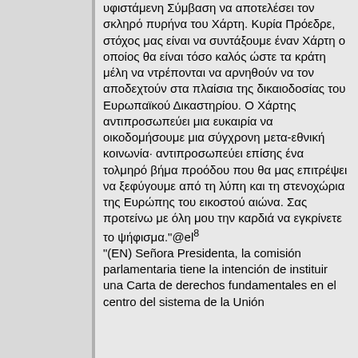υφιστάμενη Σύμβαση να αποτελέσει τον σκληρό πυρήνα του Χάρτη. Κυρία Πρόεδρε, στόχος μας είναι να συντάξουμε έναν Χάρτη ο οποίος θα είναι τόσο καλός ώστε τα κράτη μέλη να ντρέπονται να αρνηθούν να τον αποδεχτούν στα πλαίσια της δικαιοδοσίας του Ευρωπαϊκού Δικαστηρίου. Ο Χάρτης αντιπροσωπεύει μια ευκαιρία να οικοδομήσουμε μια σύγχρονη μετα-εθνική κοινωνία· αντιπροσωπεύει επίσης ένα τολμηρό βήμα προόδου που θα μας επιτρέψει να ξεφύγουμε από τη λύπη και τη στενοχώρια της Ευρώπης του εικοστού αιώνα. Σας προτείνω με όλη μου την καρδιά να εγκρίνετε το ψήφισμα."@el⁸ "(EN) Señora Presidenta, la comisión parlamentaria tiene la intención de instituir una Carta de derechos fundamentales en el centro del sistema de la Unión